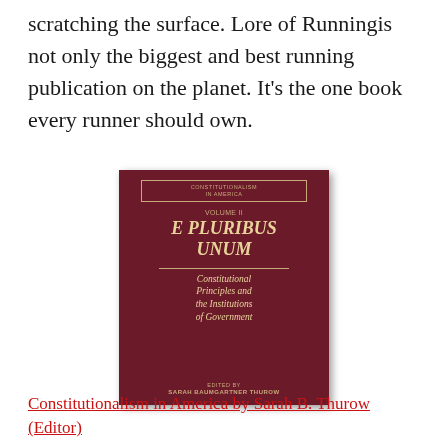scratching the surface. Lore of Runningis not only the biggest and best running publication on the planet. It's the one book every runner should own.
[Figure (photo): Book cover of 'Constitutionalism in America, Volume II: E Pluribus Unum — Constitutional Principles and the Institutions of Government', edited by Sarah Baumgartner Thurow. Dark red/maroon hardcover with gold lettering.]
Constitutionalism in America by Sarah B. Thurow (Editor)